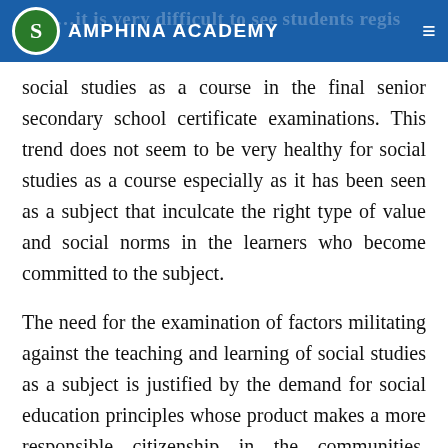SAMPHINA ACADEMY
social studies as a course in the final senior secondary school certificate examinations. This trend does not seem to be very healthy for social studies as a course especially as it has been seen as a subject that inculcate the right type of value and social norms in the learners who become committed to the subject.
The need for the examination of factors militating against the teaching and learning of social studies as a subject is justified by the demand for social education principles whose product makes a more responsible citizenship in the communities. Inyang-